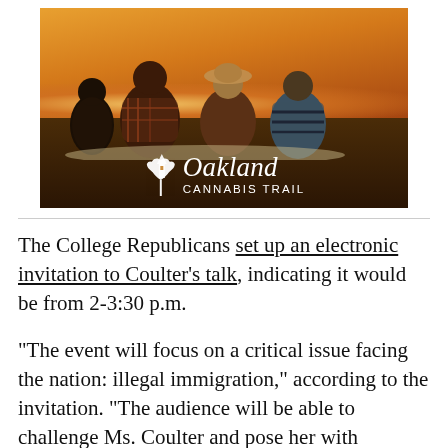[Figure (photo): Four young people sitting on a blanket outdoors, seen from behind, watching a sunset. An Oakland Cannabis Trail logo with a cannabis leaf and tower icon is overlaid at the bottom center.]
The College Republicans set up an electronic invitation to Coulter's talk, indicating it would be from 2-3:30 p.m.
“The event will focus on a critical issue facing the nation: illegal immigration,” according to the invitation. “The audience will be able to challenge Ms. Coulter and pose her with questions. The event is free and open to the public.”